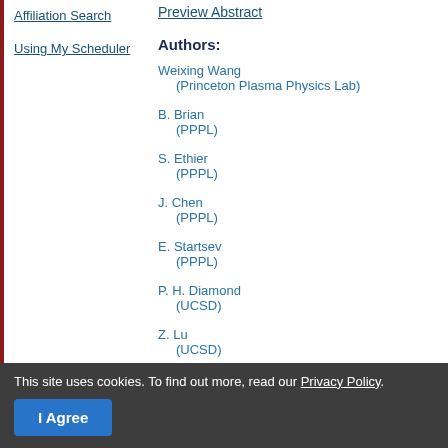Affiliation Search
Using My Scheduler
Preview Abstract
Authors:
Weixing Wang (Princeton Plasma Physics Lab)
B. Brian (PPPL)
S. Ethier (PPPL)
J. Chen (PPPL)
E. Startsev (PPPL)
P. H. Diamond (UCSD)
Z. Lu (UCSD)
rotation profile typically observed in EC... such profile structures provides an out... based gyrokinetic simulation models. M... induced residual stress generated fr...
This site uses cookies. To find out more, read our Privacy Policy.
I Agree